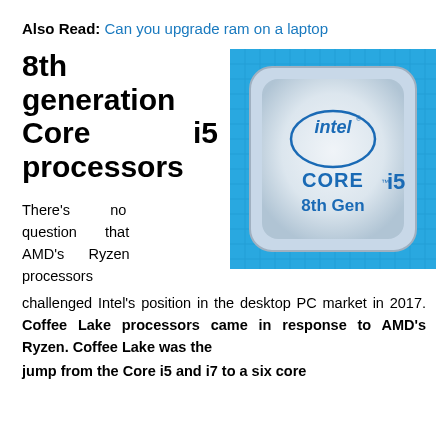Also Read: Can you upgrade ram on a laptop
8th generation Core i5 processors
[Figure (photo): Intel Core i5 8th Gen processor chip product photo with blue circuit board background]
There's no question that AMD's Ryzen processors challenged Intel's position in the desktop PC market in 2017. Coffee Lake processors came in response to AMD's Ryzen. Coffee Lake was the jump from the Core i5 and i7 to a six core...